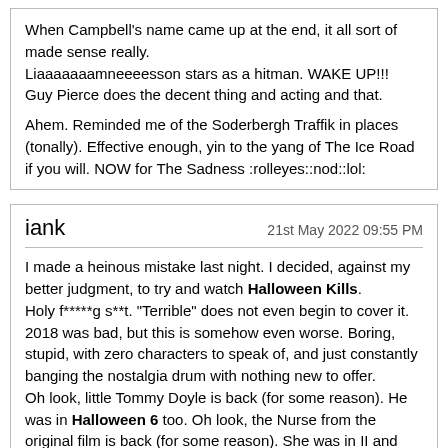When Campbell's name came up at the end, it all sort of made sense really.
Liaaaaaaamneeeesson stars as a hitman. WAKE UP!!!
Guy Pierce does the decent thing and acting and that.

Ahem. Reminded me of the Soderbergh Traffik in places (tonally). Effective enough, yin to the yang of The Ice Road if you will. NOW for The Sadness :rolleyes::nod::lol:
iank
21st May 2022 09:55 PM

I made a heinous mistake last night. I decided, against my better judgment, to try and watch Halloween Kills.
Holy f*****g s**t. "Terrible" does not even begin to cover it. 2018 was bad, but this is somehow even worse. Boring, stupid, with zero characters to speak of, and just constantly banging the nostalgia drum with nothing new to offer.
Oh look, little Tommy Doyle is back (for some reason). He was in Halloween 6 too. Oh look, the Nurse from the original film is back (for some reason). She was in II and H20 too. In shock of shocks, Michael kills her. Oh wait, he did that already in H20.
I tried, I really did. But there is nothing in these movies that the original series did not already do, and in most cases did better in those "terrible sequels" we're all supposed to be happy to throw away to get these new ones. Except most of those sequels were actually pretty good, and certainly infinitely better than these godawful messes. We even get a godawful CGI Donald Pleasance at